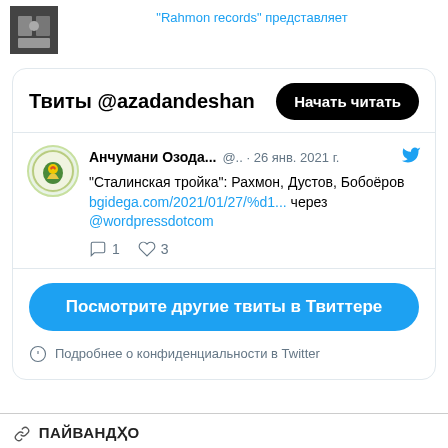[Figure (photo): Small square photo thumbnail, dark toned image]
"Rahmon records" представляет
[Figure (screenshot): Embedded Twitter widget showing tweets by @azadandeshan with a tweet from Анчумани Озода on 26 Jan 2021 about Сталинская тройка, a blue button Посмотрите другие твиты в Твиттере, and a privacy note]
ПАЙВАНДҲО